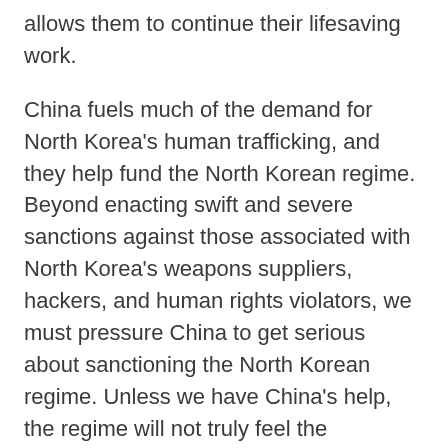allows them to continue their lifesaving work.
China fuels much of the demand for North Korea's human trafficking, and they help fund the North Korean regime. Beyond enacting swift and severe sanctions against those associated with North Korea's weapons suppliers, hackers, and human rights violators, we must pressure China to get serious about sanctioning the North Korean regime. Unless we have China's help, the regime will not truly feel the repercussions of its actions.
We have come together today across party lines in a bipartisan effort to address the growing threat that North Korea poses to the United States and our allies. We are united in our belief